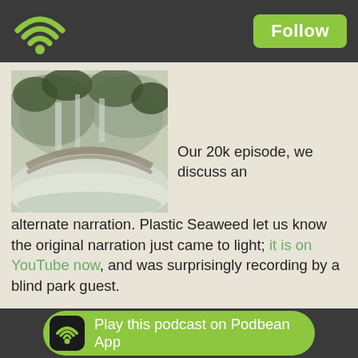Follow
[Figure (photo): Fantasy landscape image with waterfalls, misty atmosphere, and stone bridge surrounded by green vegetation]
Our 20k episode, we discuss an alternate narration. Plastic Seaweed let us know the original narration just came to light; it is on YouTube now, and was surprisingly recording by a blind park guest.
Mike Frank wrote us, loves the podcast, and wants Mr. Bowers to release "Tales of the Styrofoam Head". All of the various audio recordings How has done over the years is sitting in the archives, which could be released in the near future. For now, check out Kingdom of Memories for some already released audio.
For questions, comments and concerns, please write us - podcast@retrowdy.com
Audio R...
[Figure (logo): Podbean app play button with wifi icon - Play this podcast on Podbean App]